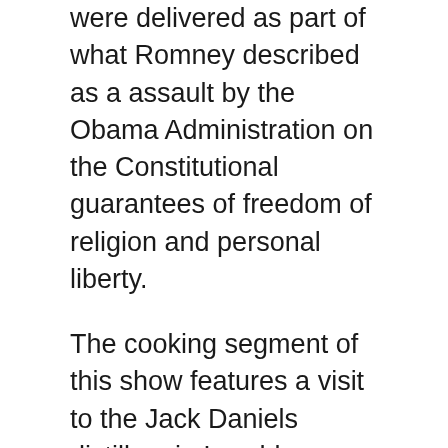were delivered as part of what Romney described as a assault by the Obama Administration on the Constitutional guarantees of freedom of religion and personal liberty.
The cooking segment of this show features a visit to the Jack Daniels distillery in Lynchburg, Tennessee, with a humorous commentary presented by guide Jessie James as he explains how Black, Green and Red Label Jack Daniels whiskey is made as well as their newer products Gentleman Jack and Tennessee Honey.
Oklahoma pencil artist Clifford Casey describes his life-long passion of making drawings of outdoor subjects using the simple medium of